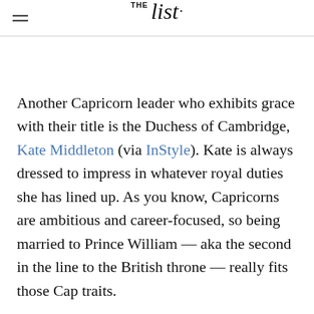THE list
Another Capricorn leader who exhibits grace with their title is the Duchess of Cambridge, Kate Middleton (via InStyle). Kate is always dressed to impress in whatever royal duties she has lined up. As you know, Capricorns are ambitious and career-focused, so being married to Prince William — aka the second in the line to the British throne — really fits those Cap traits.